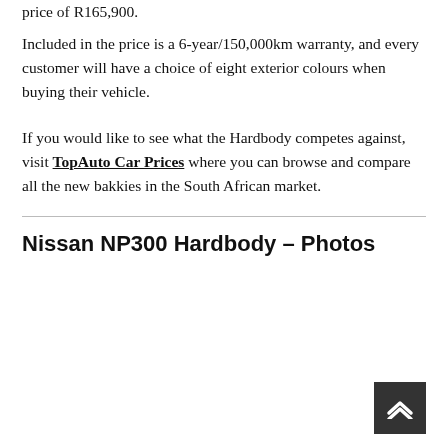price of R165,900.
Included in the price is a 6-year/150,000km warranty, and every customer will have a choice of eight exterior colours when buying their vehicle.
If you would like to see what the Hardbody competes against, visit TopAuto Car Prices where you can browse and compare all the new bakkies in the South African market.
Nissan NP300 Hardbody – Photos